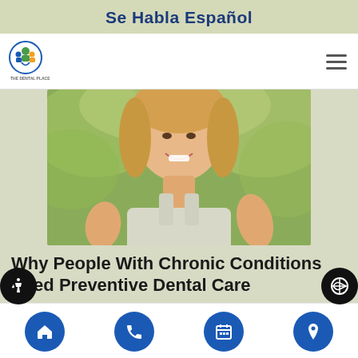Se Habla Español
[Figure (logo): The Dental Place logo with circular icon and text]
[Figure (photo): Smiling young woman with blonde hair in a white ribbed top outdoors with green bokeh background]
Why People With Chronic Conditions Need Preventive Dental Care
When it comes to preventive dental care, the approach is two-fold. First, it involves
Navigation icons: home, phone, calendar, location